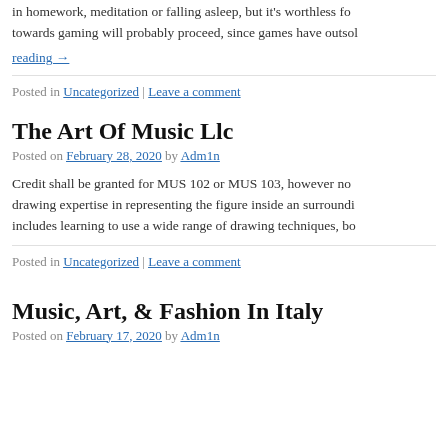in homework, meditation or falling asleep, but it's worthless for towards gaming will probably proceed, since games have outsold
reading →
Posted in Uncategorized | Leave a comment
The Art Of Music Llc
Posted on February 28, 2020 by Adm1n
Credit shall be granted for MUS 102 or MUS 103, however not drawing expertise in representing the figure inside an surrounding includes learning to use a wide range of drawing techniques, bo
Posted in Uncategorized | Leave a comment
Music, Art, & Fashion In Italy
Posted on February 17, 2020 by Adm1n